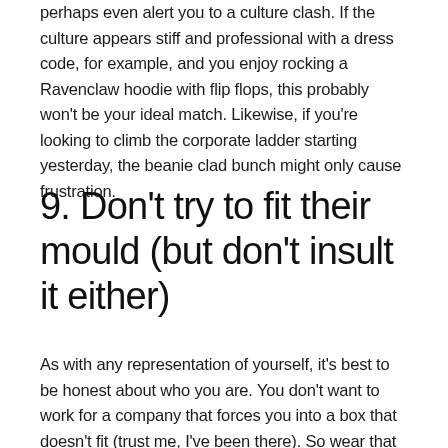perhaps even alert you to a culture clash. If the culture appears stiff and professional with a dress code, for example, and you enjoy rocking a Ravenclaw hoodie with flip flops, this probably won't be your ideal match. Likewise, if you're looking to climb the corporate ladder starting yesterday, the beanie clad bunch might only cause frustration.
9. Don't try to fit their mould (but don't insult it either)
As with any representation of yourself, it's best to be honest about who you are. You don't want to work for a company that forces you into a box that doesn't fit (trust me, I've been there). So wear that Ravenclaw hoodie at the interview. Chances are they'll love